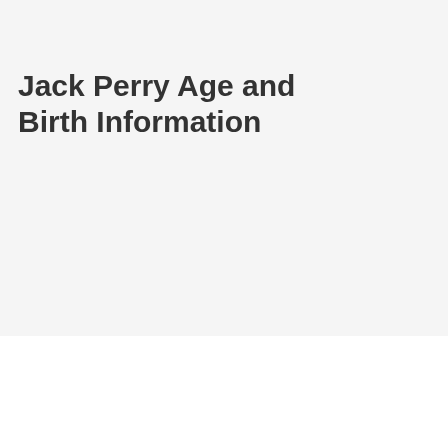Jack Perry Age and Birth Information